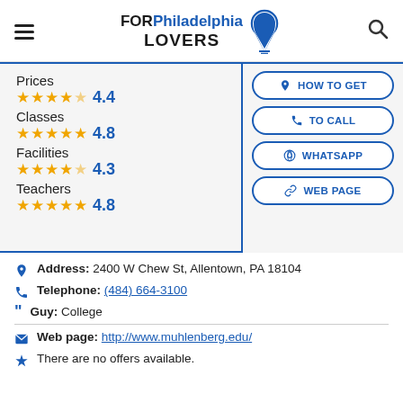FOR Philadelphia LOVERS
Prices 4.4
Classes 4.8
Facilities 4.3
Teachers 4.8
HOW TO GET
TO CALL
WHATSAPP
WEB PAGE
Address: 2400 W Chew St, Allentown, PA 18104
Telephone: (484) 664-3100
Guy: College
Web page: http://www.muhlenberg.edu/
There are no offers available.